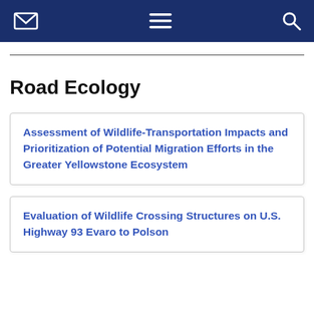[Navigation bar with envelope icon, menu icon, and search icon]
Road Ecology
Assessment of Wildlife-Transportation Impacts and Prioritization of Potential Migration Efforts in the Greater Yellowstone Ecosystem
Evaluation of Wildlife Crossing Structures on U.S. Highway 93 Evaro to Polson